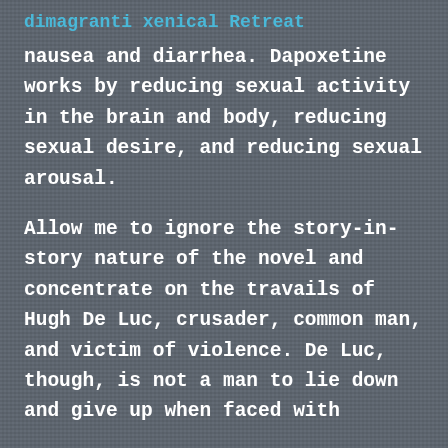dimagranti xenical Retreat
nausea and diarrhea. Dapoxetine works by reducing sexual activity in the brain and body, reducing sexual desire, and reducing sexual arousal.
Allow me to ignore the story-in-story nature of the novel and concentrate on the travails of Hugh De Luc, crusader, common man, and victim of violence. De Luc, though, is not a man to lie down and give up when faced with